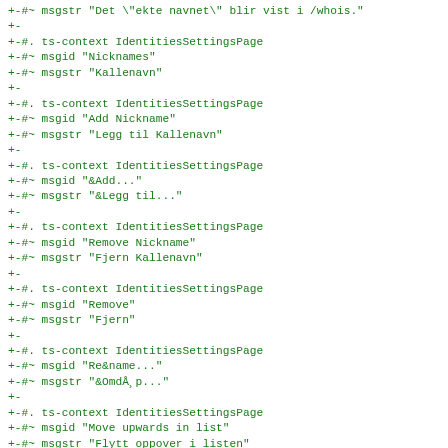+-#~ msgstr "Det \"ekte navnet\" blir vist i /whois."
+-
+-#. ts-context IdentitiesSettingsPage
+-#~ msgid "Nicknames"
+-#~ msgstr "Kallenavn"
+-
+-#. ts-context IdentitiesSettingsPage
+-#~ msgid "Add Nickname"
+-#~ msgstr "Legg til Kallenavn"
+-
+-#. ts-context IdentitiesSettingsPage
+-#~ msgid "&Add..."
+-#~ msgstr "&Legg til..."
+-
+-#. ts-context IdentitiesSettingsPage
+-#~ msgid "Remove Nickname"
+-#~ msgstr "Fjern Kallenavn"
+-
+-#. ts-context IdentitiesSettingsPage
+-#~ msgid "Remove"
+-#~ msgstr "Fjern"
+-
+-#. ts-context IdentitiesSettingsPage
+-#~ msgid "Re&name..."
+-#~ msgstr "&OmdÅ¸p..."
+-
+-#. ts-context IdentitiesSettingsPage
+-#~ msgid "Move upwards in list"
+-#~ msgstr "Flytt oppover i listen"
+-
+-#. ts-context IdentitiesSettingsPage
+-#~ msgid "Move downwards in list"